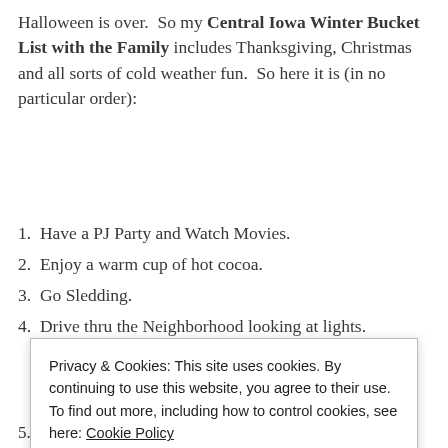Halloween is over. So my Central Iowa Winter Bucket List with the Family includes Thanksgiving, Christmas and all sorts of cold weather fun. So here it is (in no particular order):
1. Have a PJ Party and Watch Movies.
2. Enjoy a warm cup of hot cocoa.
3. Go Sledding.
4. Drive thru the Neighborhood looking at lights.
Check out the best places to go here
Privacy & Cookies: This site uses cookies. By continuing to use this website, you agree to their use. To find out more, including how to control cookies, see here: Cookie Policy
Close and accept
5. Attend the Festival of Trees and Lights